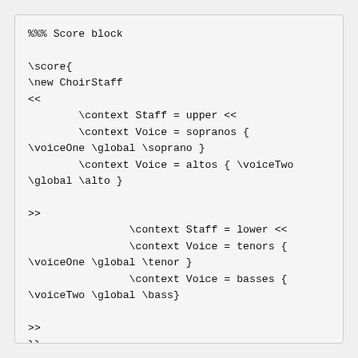%%% Score block

\score{
\new ChoirStaff
<<
        \context Staff = upper <<
        \context Voice = sopranos {
\voiceOne \global \soprano }
        \context Voice = altos { \voiceTwo
\global \alto }

>>
                \context Staff = lower <<
                \context Voice = tenors {
\voiceOne \global \tenor }
                \context Voice = basses {
\voiceTwo \global \bass}

>>
}}